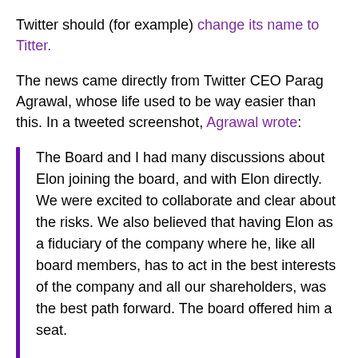Twitter should (for example) change its name to Titter.
The news came directly from Twitter CEO Parag Agrawal, whose life used to be way easier than this. In a tweeted screenshot, Agrawal wrote:
The Board and I had many discussions about Elon joining the board, and with Elon directly. We were excited to collaborate and clear about the risks. We also believed that having Elon as a fiduciary of the company where he, like all board members, has to act in the best interests of the company and all our shareholders, was the best path forward. The board offered him a seat.
We announced on Tuesday that Elon would be appointed to the Board contingent on a background check and formal acceptance. Elon's appointment to